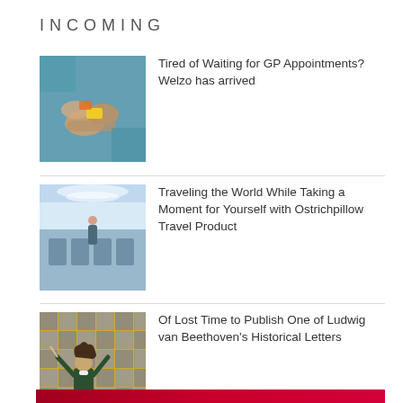INCOMING
[Figure (photo): Close-up of hands holding small colorful objects, teal/blue background]
Tired of Waiting for GP Appointments? Welzo has arrived
[Figure (photo): Interior of airplane cabin with passengers and flight attendant, bright overhead lighting]
Traveling the World While Taking a Moment for Yourself with Ostrichpillow Travel Product
[Figure (photo): Illustration of Beethoven conducting with yellow tiled background featuring face portraits]
Of Lost Time to Publish One of Ludwig van Beethoven’s Historical Letters